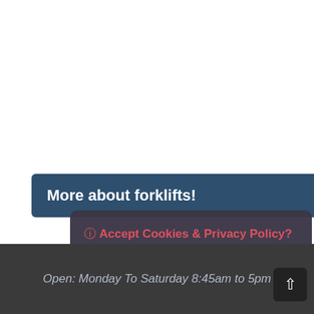More about forklifts!
🛈 Accept Cookies & Privacy Policy?
We use cookies to improve your experience on the website and gather data about how you are using the website. Click the accept button below or customise cookies. Cookies & Privacy Policy
Accept Cookies
Customise Cookies
Open: Monday To Saturday 8:45am to 5pm